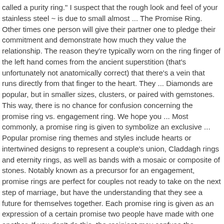called a purity ring." I suspect that the rough look and feel of your stainless steel ~ is due to small almost ... The Promise Ring. Other times one person will give their partner one to pledge their commitment and demonstrate how much they value the relationship. The reason they're typically worn on the ring finger of the left hand comes from the ancient superstition (that's unfortunately not anatomically correct) that there's a vein that runs directly from that finger to the heart. They ... Diamonds are popular, but in smaller sizes, clusters, or paired with gemstones. This way, there is no chance for confusion concerning the promise ring vs. engagement ring. We hope you ... Most commonly, a promise ring is given to symbolize an exclusive ... Popular promise ring themes and styles include hearts or intertwined designs to represent a couple's union, Claddagh rings and eternity rings, as well as bands with a mosaic or composite of stones. Notably known as a precursor for an engagement, promise rings are perfect for couples not ready to take on the next step of marriage, but have the understanding that they see a future for themselves together. Each promise ring is given as an expression of a certain promise two people have made with one another. If you don't do this, the recipient may confuse the promise ring for an engagement ring. You can use the promise ring on the right hand and